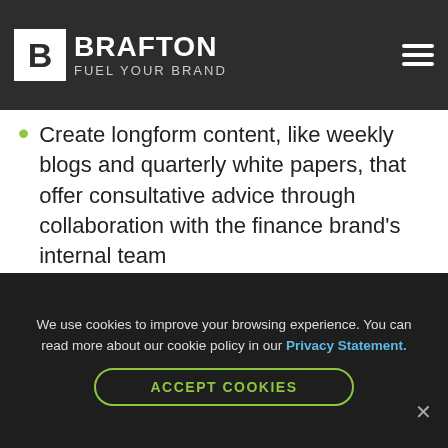BRAFTON | FUEL YOUR BRAND
Create longform content, like weekly blogs and quarterly white papers, that offer consultative advice through collaboration with the finance brand's internal team
Create quarterly infographics to appeal to a large pool of qualified advisors, with straightforward data they need to know
Pair in-depth articles with an email
We use cookies to improve your browsing experience. You can read more about our cookie policy in our Privacy Statement.
ACCEPT COOKIES